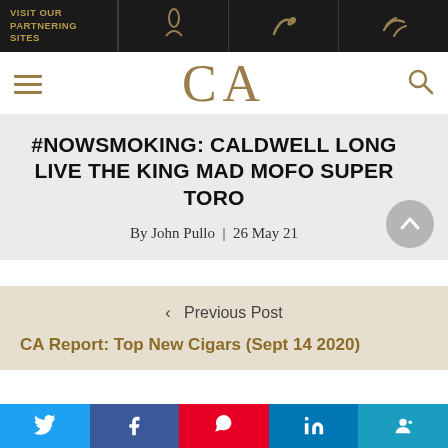VISIT OUR PARTNERING SITES
[Figure (logo): CA logo - cigar magazine brand initials in gold serif font]
#NOWSMOKING: CALDWELL LONG LIVE THE KING MAD MOFO SUPER TORO
By John Pullo | 26 May 21
< Previous Post
CA Report: Top New Cigars (Sept 14 2020)
Twitter | Facebook | Pinterest | LinkedIn | Accessibility